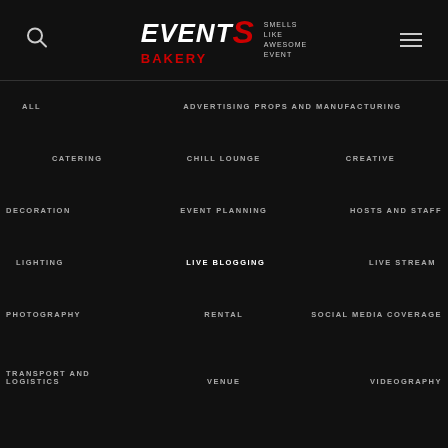[Figure (logo): Events Bakery logo with search and menu icons in dark header bar]
ALL
ADVERTISING PROPS AND MANUFACTURING
CATERING
CHILL LOUNGE
CREATIVE
DECORATION
EVENT PLANNING
HOSTS AND STAFF
LIGHTING
LIVE BLOGGING
LIVE STREAM
PHOTOGRAPHY
RENTAL
SOCIAL MEDIA COVERAGE
TRANSPORT AND LOGISTICS
VENUE
VIDEOGRAPHY